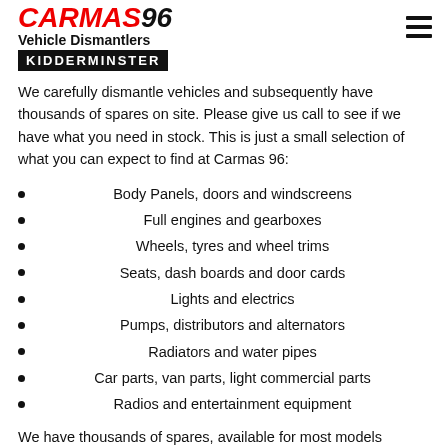CARMAS96 Vehicle Dismantlers KIDDERMINSTER
We carefully dismantle vehicles and subsequently have thousands of spares on site. Please give us call to see if we have what you need in stock. This is just a small selection of what you can expect to find at Carmas 96:
Body Panels, doors and windscreens
Full engines and gearboxes
Wheels, tyres and wheel trims
Seats, dash boards and door cards
Lights and electrics
Pumps, distributors and alternators
Radiators and water pipes
Car parts, van parts, light commercial parts
Radios and entertainment equipment
We have thousands of spares, available for most models